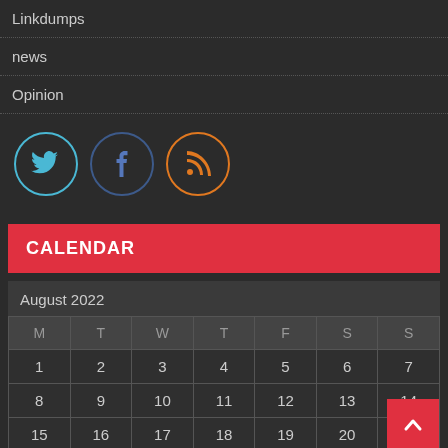Linkdumps
news
Opinion
[Figure (other): Social media icons: Twitter (blue circle), Facebook (dark blue circle), RSS (orange circle)]
CALENDAR
| M | T | W | T | F | S | S |
| --- | --- | --- | --- | --- | --- | --- |
| 1 | 2 | 3 | 4 | 5 | 6 | 7 |
| 8 | 9 | 10 | 11 | 12 | 13 | 14 |
| 15 | 16 | 17 | 18 | 19 | 20 | 21 |
| 22 | 23 | 24 | 25 | 26 | 27 | 28 |